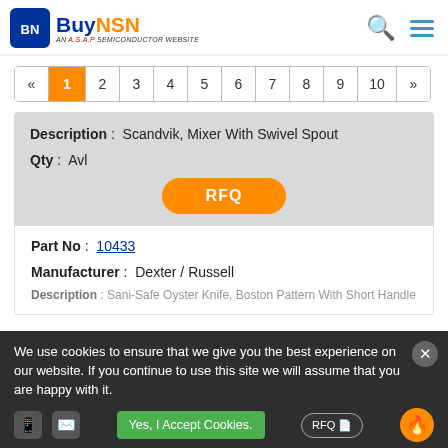BuyNSN - AN A.S.A.P SEMICONDUCTOR WEBSITE
| « | 1 | 2 | 3 | 4 | 5 | 6 | 7 | 8 | 9 | 10 | » |
| --- | --- | --- | --- | --- | --- | --- | --- | --- | --- | --- | --- |
Description: Scandvik, Mixer With Swivel Spout
Qty: Avl
RFQ
Part No: 10433
Manufacturer: Dexter / Russell
Description: Sani-Safe Oyster Knife, Boston Pattern With Short Handle
We use cookies to ensure that we give you the best experience on our website. If you continue to use this site we will assume that you are happy with it.
Yes, I Accept Cookies.